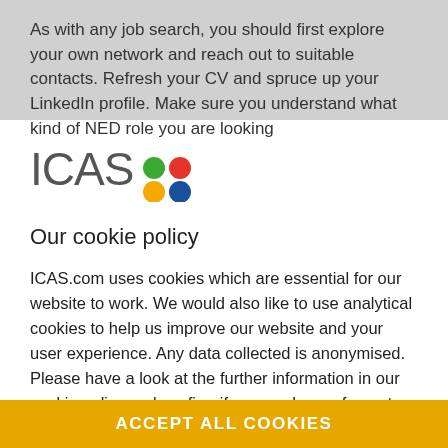As with any job search, you should first explore your own network and reach out to suitable contacts. Refresh your CV and spruce up your LinkedIn profile. Make sure you understand what kind of NED role you are looking
[Figure (logo): ICAS logo with coloured dots (green, red, yellow, blue) arranged in a 2x2 grid next to the text 'ICAS' in grey]
Our cookie policy
ICAS.com uses cookies which are essential for our website to work. We would also like to use analytical cookies to help us improve our website and your user experience. Any data collected is anonymised. Please have a look at the further information in our cookie policy and confirm if you are happy for us to use analytical cookies:
ACCEPT ALL COOKIES